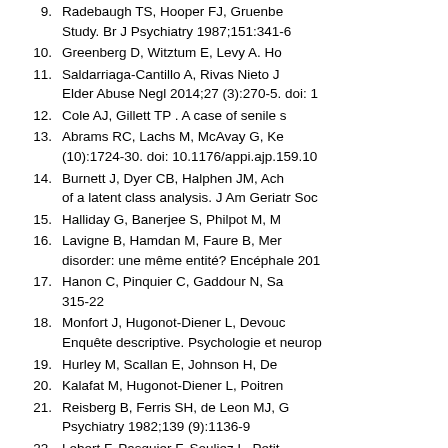9. Radebaugh TS, Hooper FJ, Gruenberg ... Study. Br J Psychiatry 1987;151:341-6
10. Greenberg D, Witztum E, Levy A. Ho...
11. Saldarriaga-Cantillo A, Rivas Nieto J... Elder Abuse Negl 2014;27 (3):270-5. doi: 1...
12. Cole AJ, Gillett TP . A case of senile s...
13. Abrams RC, Lachs M, McAvay G, Ke... (10):1724-30. doi: 10.1176/appi.ajp.159.10...
14. Burnett J, Dyer CB, Halphen JM, Ach... of a latent class analysis. J Am Geriatr Soc...
15. Halliday G, Banerjee S, Philpot M, M...
16. Lavigne B, Hamdan M, Faure B, Mer... disorder: une même entité? Encéphale 201...
17. Hanon C, Pinquier C, Gaddour N, Sa... 315-22
18. Monfort J, Hugonot-Diener L, Devou... Enquête descriptive. Psychologie et neurop...
19. Hurley M, Scallan E, Johnson H, De...
20. Kalafat M, Hugonot-Diener L, Poitren...
21. Reisberg B, Ferris SH, de Leon MJ, G... Psychiatry 1982;139 (9):1136-9
22. Lebert F, Pasquier F, Souliez L, Petit...
23. American Psychiatric Association. Di... 2013
24. Furtos J. De la précarité sociale à l'a...